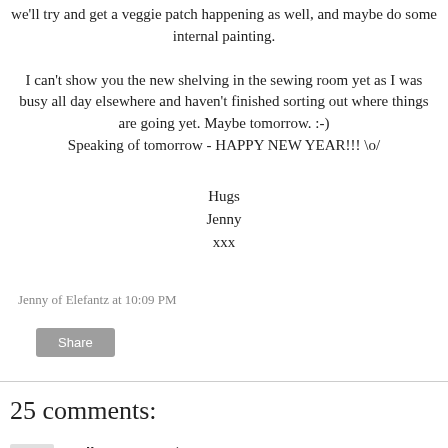we'll try and get a veggie patch happening as well, and maybe do some internal painting.
I can't show you the new shelving in the sewing room yet as I was busy all day elsewhere and haven't finished sorting out where things are going yet. Maybe tomorrow. :-)
Speaking of tomorrow - HAPPY NEW YEAR!!! \o/
Hugs
Jenny
xxx
Jenny of Elefantz at 10:09 PM
Share
25 comments:
Colleen  December 31, 2009 at 10:42 PM
Happy New Year to you and your family. I hope that you